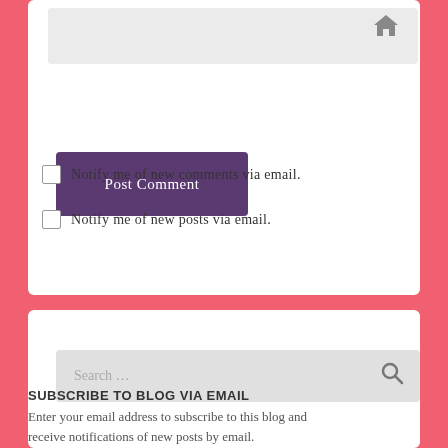[Figure (screenshot): Input field area with a house/home icon in the top-right corner, part of a comment form on a blog website.]
Post Comment
Notify me of new comments via email.
Notify me of new posts via email.
[Figure (screenshot): Search bar with placeholder text 'Search ...' and a magnifying glass icon on the right.]
SUBSCRIBE TO BLOG VIA EMAIL
Enter your email address to subscribe to this blog and receive notifications of new posts by email.